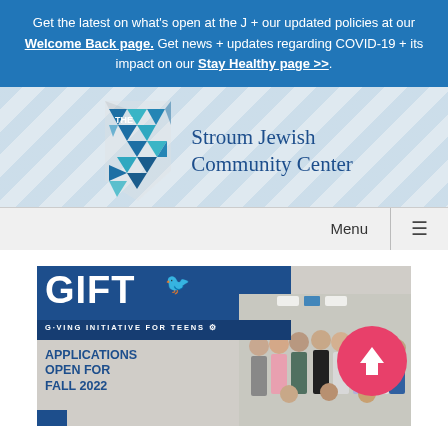Get the latest on what's open at the J + our updated policies at our Welcome Back page. Get news + updates regarding COVID-19 + its impact on our Stay Healthy page >>.
[Figure (logo): The J – Stroum Jewish Community Center logo with geometric triangle J icon and text]
Menu ☰
[Figure (photo): GIFT – Giving Initiative for Teens promotional image showing group of teens with text 'Applications Open for Fall 2022' and a pink circle with up arrow]